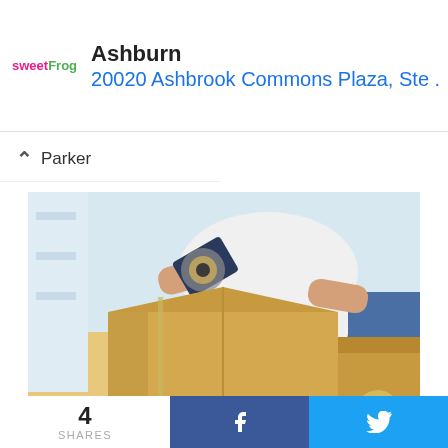[Figure (other): Advertisement banner: sweetFrog logo with text 'Ashburn' and '20020 Ashbrook Commons Plaza, Ste .' with navigation arrow icon]
Parker
[Figure (photo): Person in white shirt taping a cardboard moving box with a tape gun, with another roll of tape visible in background]
Blog
Most Ideal Ways To Pack Your Boxes for Shipping
4
SHARES